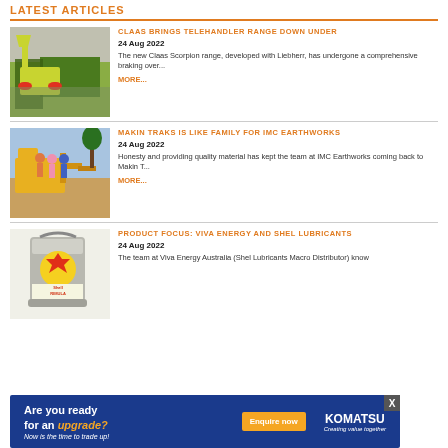LATEST ARTICLES
[Figure (photo): CLAAS telehandler lifting material beside a large metal bin outdoors]
CLAAS BRINGS TELEHANDLER RANGE DOWN UNDER
24 Aug 2022
The new Claas Scorpion range, developed with Liebherr, has undergone a comprehensive braking over...
MORE...
[Figure (photo): Group of people standing in front of heavy earthmoving equipment outdoors]
MAKIN TRAKS IS LIKE FAMILY FOR IMC EARTHWORKS
24 Aug 2022
Honesty and providing quality material has kept the team at IMC Earthworks coming back to Makin T...
MORE...
[Figure (photo): Shell Rimula lubricant bucket/container product image]
PRODUCT FOCUS: VIVA ENERGY AND SHEL LUBRICANTS
24 Aug 2022
The team at Viva Energy Australia (Shel Lubricants Macro Distributor) know how to
Are you ready for an upgrade? Enquire now KOMATSU Creating value together Now is the time to trade up!